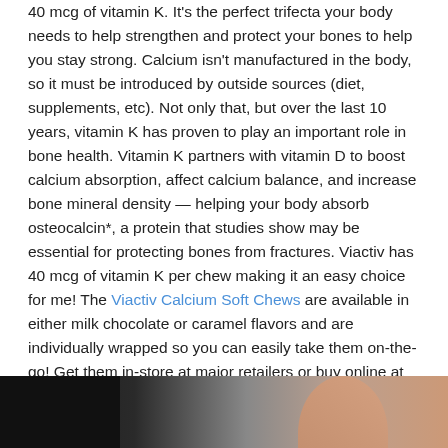40 mcg of vitamin K. It's the perfect trifecta your body needs to help strengthen and protect your bones to help you stay strong. Calcium isn't manufactured in the body, so it must be introduced by outside sources (diet, supplements, etc). Not only that, but over the last 10 years, vitamin K has proven to play an important role in bone health. Vitamin K partners with vitamin D to boost calcium absorption, affect calcium balance, and increase bone mineral density — helping your body absorb osteocalcin*, a protein that studies show may be essential for protecting bones from fractures. Viactiv has 40 mcg of vitamin K per chew making it an easy choice for me! The Viactiv Calcium Soft Chews are available in either milk chocolate or caramel flavors and are individually wrapped so you can easily take them on-the-go! Get them in-store at major retailers or buy online at Walmart, Target, or Amazon.
[Figure (photo): Partial photo at bottom of page showing a dark background with what appears to be a hand or fingers, partially cut off]